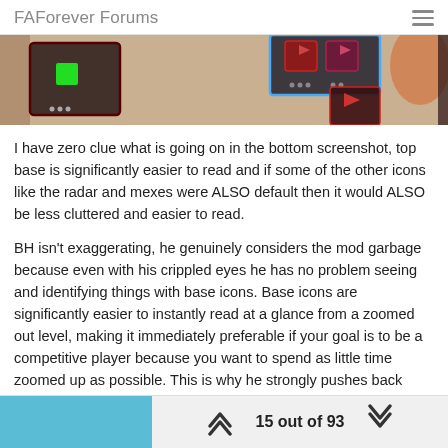FAForever Forums
[Figure (screenshot): Game screenshot showing unit icons on a map — dark background with colored unit markers including green square icon, red/dark units with pixel-art style icons]
I have zero clue what is going on in the bottom screenshot, top base is significantly easier to read and if some of the other icons like the radar and mexes were ALSO default then it would ALSO be less cluttered and easier to read.
BH isn't exaggerating, he genuinely considers the mod garbage because even with his crippled eyes he has no problem seeing and identifying things with base icons. Base icons are significantly easier to instantly read at a glance from a zoomed out level, making it immediately preferable if your goal is to be a competitive player because you want to spend as little time zoomed up as possible. This is why he strongly pushes back against it in his guide for improving since it reinforces bad habits.
15 out of 93